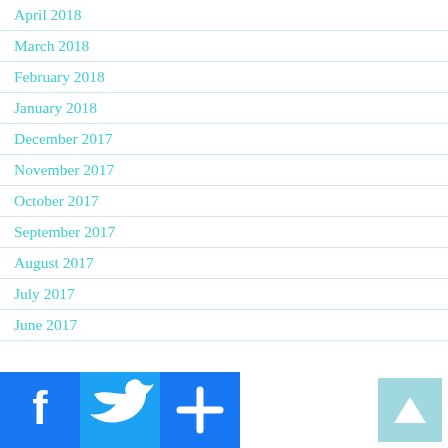April 2018
March 2018
February 2018
January 2018
December 2017
November 2017
October 2017
September 2017
August 2017
July 2017
June 2017
[Figure (other): Social sharing icons: Facebook, Twitter, and a share/plus button]